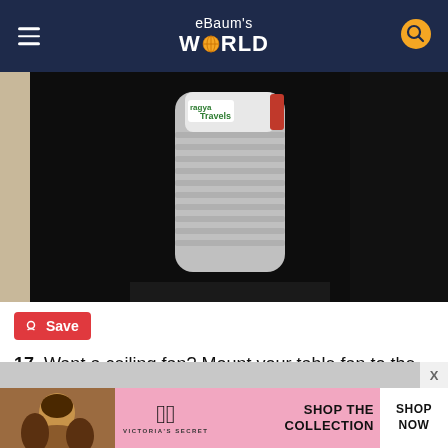eBaum's WORLD
[Figure (photo): A plastic water bottle with a label reading 'Pragya Travels' wrapped in what appears to be plastic wrap or tape, sitting on a dark surface.]
Save
17. Want a ceiling fan? Mount your table fan to the ceiling with a string and a hook.
[Figure (photo): Victoria's Secret advertisement banner showing a woman with curly hair, the VS logo, text 'SHOP THE COLLECTION' and a 'SHOP NOW' button.]